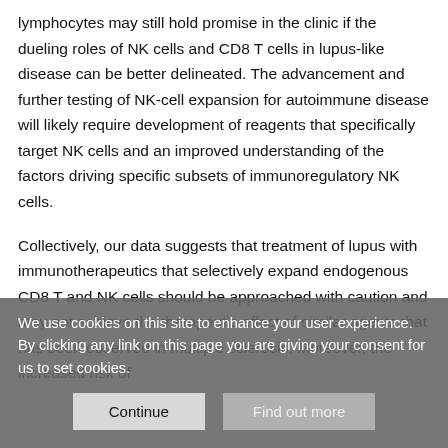lymphocytes may still hold promise in the clinic if the dueling roles of NK cells and CD8 T cells in lupus-like disease can be better delineated. The advancement and further testing of NK-cell expansion for autoimmune disease will likely require development of reagents that specifically target NK cells and an improved understanding of the factors driving specific subsets of immunoregulatory NK cells.
Collectively, our data suggests that treatment of lupus with immunotherapeutics that selectively expand endogenous CD8 T and NK cells should be approached with caution and may not achieve the therapeutic effect of similar agents that has been observed in multiple sclerosis. Moreover, the increased risk of
We use cookies on this site to enhance your user experience. By clicking any link on this page you are giving your consent for us to set cookies.